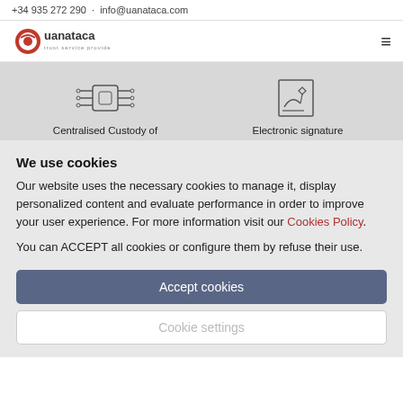+34 935 272 290 · info@uanataca.com
[Figure (logo): Uanataca trust service provider logo with red circular icon and text]
[Figure (illustration): Two icons: Centralised Custody icon (circuit/chip) and Electronic signature icon (document with pen)]
Centralised Custody of
Electronic signature
We use cookies
Our website uses the necessary cookies to manage it, display personalized content and evaluate performance in order to improve your user experience. For more information visit our Cookies Policy.
You can ACCEPT all cookies or configure them by refuse their use.